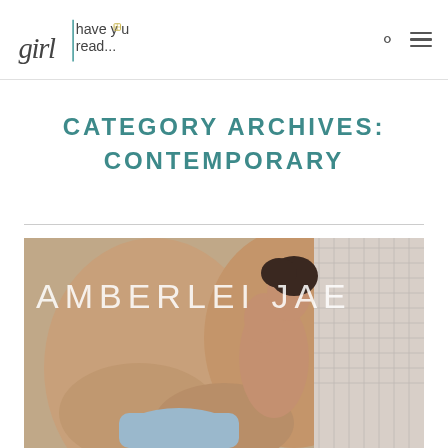girl have you read...
CATEGORY ARCHIVES: CONTEMPORARY
[Figure (photo): Book cover photo showing a woman in a light blue outfit with text overlay reading 'AMBERLEI JAE']